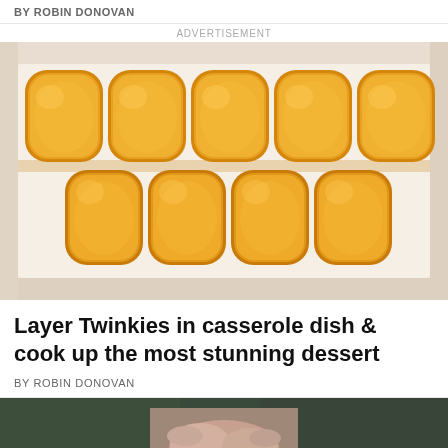BY ROBIN DONOVAN
ADVERTISEMENT
[Figure (photo): Twinkies arranged in rows inside a white casserole baking dish, viewed from above. The golden sponge cakes fill the dish completely in neat horizontal rows.]
Layer Twinkies in casserole dish & cook up the most stunning dessert
BY ROBIN DONOVAN
[Figure (photo): Bottom portion of a person sitting, wearing dark green pants, hands visible in lap area, partial view cropped at the bottom of the page.]